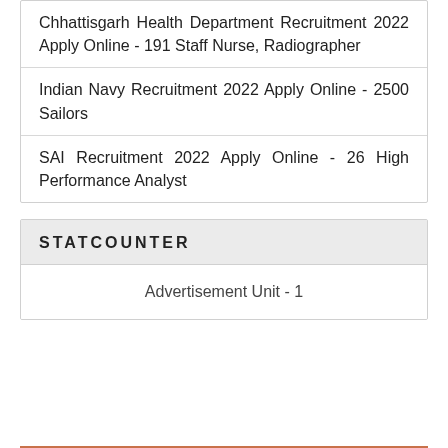Chhattisgarh Health Department Recruitment 2022 Apply Online - 191 Staff Nurse, Radiographer
Indian Navy Recruitment 2022 Apply Online - 2500 Sailors
SAI Recruitment 2022 Apply Online - 26 High Performance Analyst
STATCOUNTER
Advertisement Unit - 1